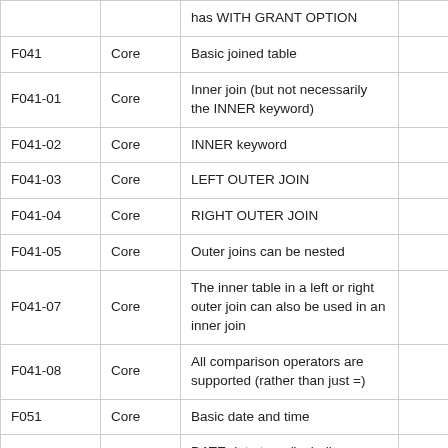|  |  | has WITH GRANT OPTION |  |
| F041 | Core | Basic joined table |  |
| F041-01 | Core | Inner join (but not necessarily the INNER keyword) |  |
| F041-02 | Core | INNER keyword |  |
| F041-03 | Core | LEFT OUTER JOIN |  |
| F041-04 | Core | RIGHT OUTER JOIN |  |
| F041-05 | Core | Outer joins can be nested |  |
| F041-07 | Core | The inner table in a left or right outer join can also be used in an inner join |  |
| F041-08 | Core | All comparison operators are supported (rather than just =) |  |
| F051 | Core | Basic date and time |  |
| F051-01 | Core | DATE data type (including support of DATE literal) |  |
|  |  | TIME data type (including |  |